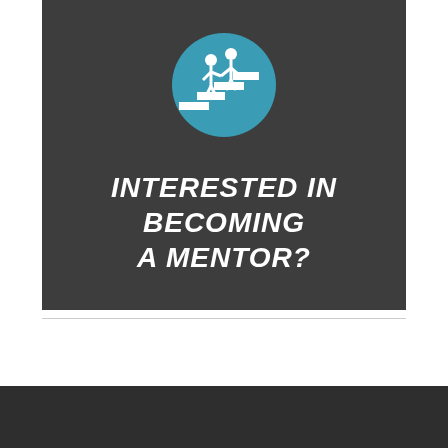[Figure (illustration): A teal/blue circular icon showing two white stick figures (a mentor and mentee) standing on ascending staircase steps, holding hands, symbolizing mentorship and guidance.]
INTERESTED IN BECOMING A MENTOR?